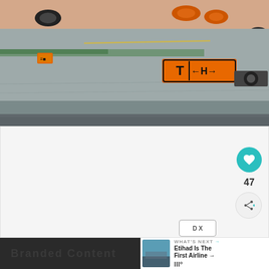[Figure (photo): Aerial/ground-level view of airport runway with aircraft landing gear visible at top, orange runway markings and taxiway sign showing 'T' and arrows pointing left and right with 'H', concrete tarmac surface visible]
[Figure (screenshot): White/light gray content area below the photo, possibly an advertisement or article body area]
47
WHAT'S NEXT → Etihad Is The First Airline →
Branded Content